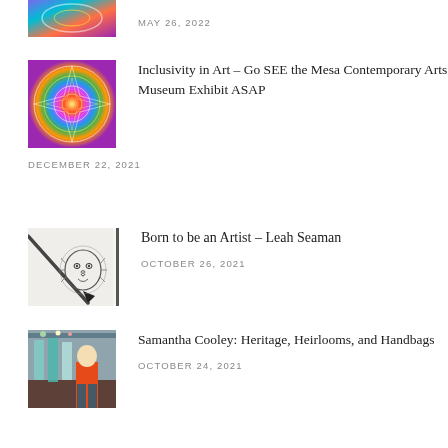[Figure (photo): Partial colorful abstract art image at top of page]
MAY 26, 2022
[Figure (photo): Colorful psychedelic mandala artwork with rainbow geometric pattern]
Inclusivity in Art – Go SEE the Mesa Contemporary Arts Museum Exhibit ASAP
DECEMBER 22, 2021
[Figure (photo): Black and white pencil drawing of a lion head with a pencil/brush beside it]
Born to be an Artist – Leah Seaman
OCTOBER 26, 2021
[Figure (photo): Woman in orange shirt standing in front of large hanging artwork pieces in a studio]
Samantha Cooley: Heritage, Heirlooms, and Handbags
OCTOBER 24, 2021